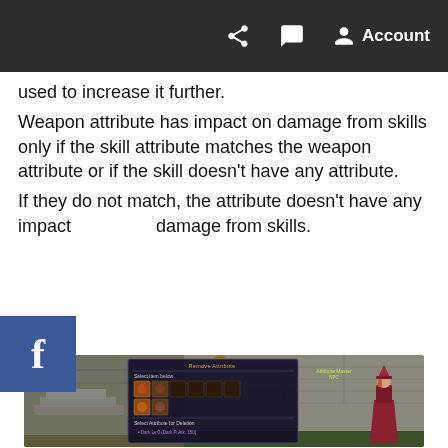Account
used to increase it further.
Weapon attribute has impact on damage from skills only if the skill attribute matches the weapon attribute or if the skill doesn't have any attribute.
If they do not match, the attribute doesn't have any impact damage from skills.
[Figure (screenshot): Game screenshot showing a 'Remove Attribute' dialog box with item icons and 'Select Attribute for Deletion: Dark Lv 0 (Dark P. Atk. 150)' option, with a character and NPC visible in the background stone environment.]